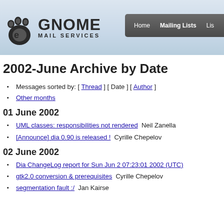GNOME MAIL SERVICES — Home | Mailing Lists | Lis...
2002-June Archive by Date
Messages sorted by: [ Thread ] [ Date ] [ Author ]
Other months
01 June 2002
UML classes: responsibilities not rendered  Neil Zanella
[Announce] dia 0.90 is released !  Cyrille Chepelov
02 June 2002
Dia ChangeLog report for Sun Jun 2 07:23:01 2002 (UTC)
gtk2.0 conversion & prerequisites  Cyrille Chepelov
segmentation fault :/  Jan Kairse